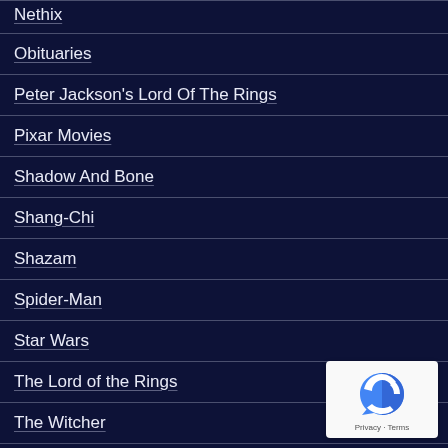Nethix
Obituaries
Peter Jackson's Lord Of The Rings
Pixar Movies
Shadow And Bone
Shang-Chi
Shazam
Spider-Man
Star Wars
The Lord of the Rings
The Witcher
Thor